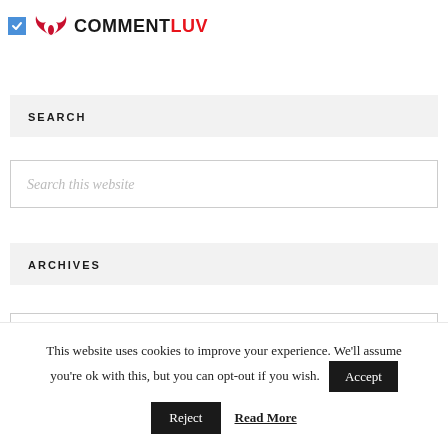[Figure (logo): CommentLuv logo with checkbox icon, bird/wings graphic in red, and text COMMENT in black and LUV in red]
SEARCH
Search this website
ARCHIVES
Select Month
This website uses cookies to improve your experience. We'll assume you're ok with this, but you can opt-out if you wish. Accept Reject Read More